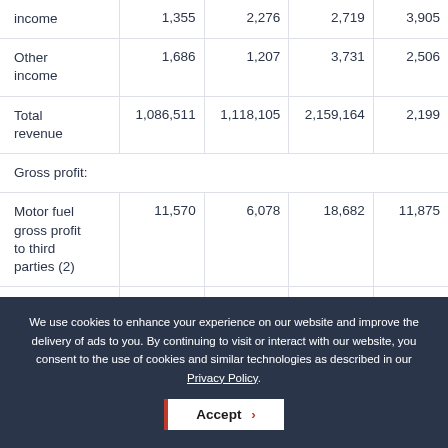|  | Col1 | Col2 | Col3 | Col4 |
| --- | --- | --- | --- | --- |
| income | 1,355 | 2,276 | 2,719 | 3,905 |
| Other income | 1,686 | 1,207 | 3,731 | 2,506 |
| Total revenue | 1,086,511 | 1,118,105 | 2,159,164 | 2,199 |
| Gross profit: |  |  |  |  |
| Motor fuel gross profit to third parties (2) | 11,570 | 6,078 | 18,682 | 11,875 |
| Motor fuel |  |  |  |  |
We use cookies to enhance your experience on our website and improve the delivery of ads to you. By continuing to visit or interact with our website, you consent to the use of cookies and similar technologies as described in our Privacy Policy.